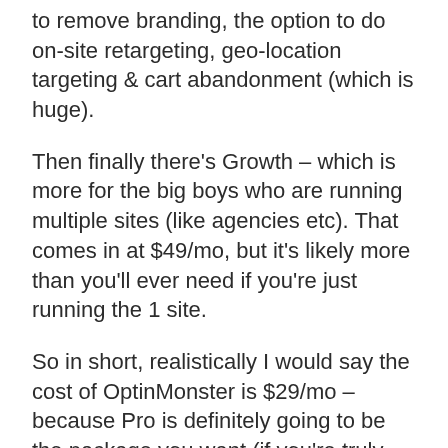to remove branding, the option to do on-site retargeting, geo-location targeting & cart abandonment (which is huge).
Then finally there's Growth – which is more for the big boys who are running multiple sites (like agencies etc). That comes in at $49/mo, but it's likely more than you'll ever need if you're just running the 1 site.
So in short, realistically I would say the cost of OptinMonster is $29/mo – because Pro is definitely going to be the package you want (if you're truly serious about increasing conversions!).